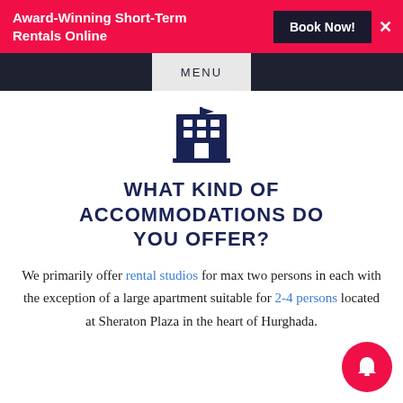Award-Winning Short-Term Rentals Online
MENU
[Figure (illustration): Dark blue building/hotel icon with windows and entrance]
WHAT KIND OF ACCOMMODATIONS DO YOU OFFER?
We primarily offer rental studios for max two persons in each with the exception of a large apartment suitable for 2-4 persons located at Sheraton Plaza in the heart of Hurghada.